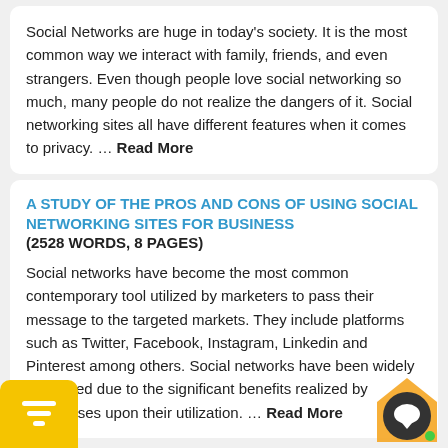Social Networks are huge in today's society. It is the most common way we interact with family, friends, and even strangers. Even though people love social networking so much, many people do not realize the dangers of it. Social networking sites all have different features when it comes to privacy. … Read More
A STUDY OF THE PROS AND CONS OF USING SOCIAL NETWORKING SITES FOR BUSINESS
(2528 WORDS, 8 PAGES)
Social networks have become the most common contemporary tool utilized by marketers to pass their message to the targeted markets. They include platforms such as Twitter, Facebook, Instagram, Linkedin and Pinterest among others. Social networks have been widely embraced due to the significant benefits realized by businesses upon their utilization. … Read More